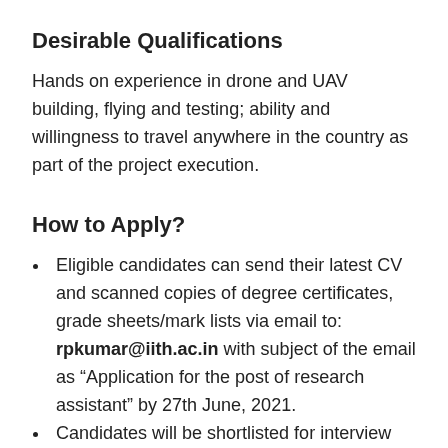Desirable Qualifications
Hands on experience in drone and UAV building, flying and testing; ability and willingness to travel anywhere in the country as part of the project execution.
How to Apply?
Eligible candidates can send their latest CV and scanned copies of degree certificates, grade sheets/mark lists via email to: rpkumar@iith.ac.in with subject of the email as “Application for the post of research assistant” by 27th June, 2021.
Candidates will be shortlisted for interview based on merit and need of the project, and